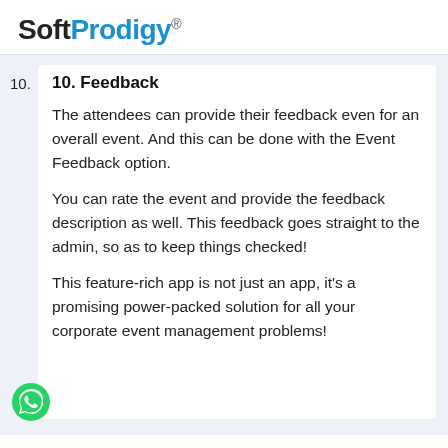SoftProdigy®
10. 10. Feedback
The attendees can provide their feedback even for an overall event. And this can be done with the Event Feedback option.
You can rate the event and provide the feedback description as well. This feedback goes straight to the admin, so as to keep things checked!
This feature-rich app is not just an app, it's a promising power-packed solution for all your corporate event management problems!